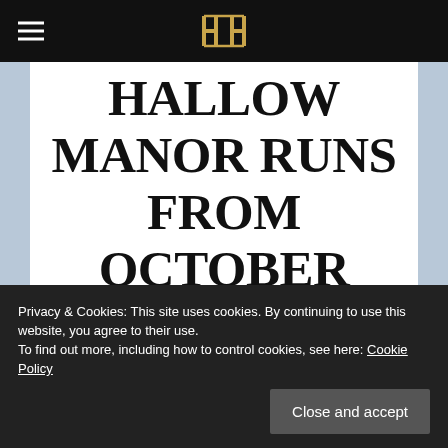≡  [Logo]
HALLOW MANOR RUNS FROM OCTOBER 16TH AT NOON SLT TO NOVEMBER 1ST.
Privacy & Cookies: This site uses cookies. By continuing to use this website, you agree to their use.
To find out more, including how to control cookies, see here: Cookie Policy
Close and accept